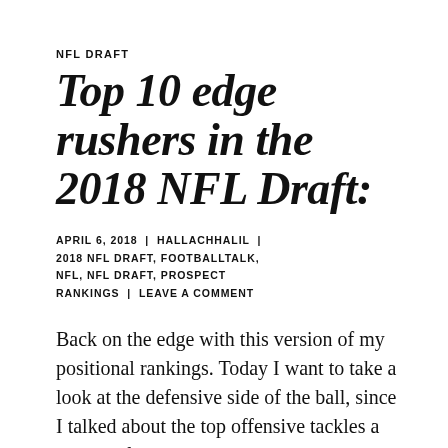NFL DRAFT
Top 10 edge rushers in the 2018 NFL Draft:
APRIL 6, 2018 | HALLACHHALIL | 2018 NFL DRAFT, FOOTBALLTALK, NFL, NFL DRAFT, PROSPECT RANKINGS | LEAVE A COMMENT
Back on the edge with this version of my positional rankings. Today I want to take a look at the defensive side of the ball, since I talked about the top offensive tackles a couple of days ago. I categorize 4-3 defensive ends, 3-4 outside linebackers and